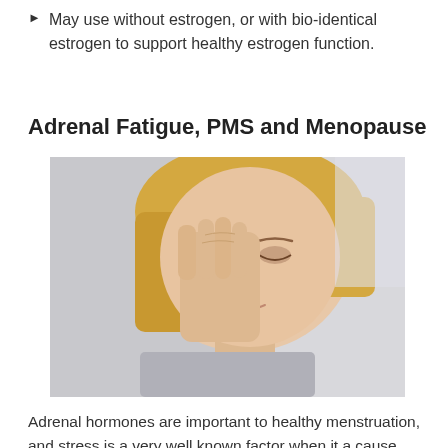May use without estrogen, or with bio-identical estrogen to support healthy estrogen function.
Adrenal Fatigue, PMS and Menopause
[Figure (photo): A blonde woman with eyes closed, resting her hand against her forehead in a stressed or fatigued pose, against a light background.]
Adrenal hormones are important to healthy menstruation, and stress is a very well known factor when it a cause menstrual cycle dysfunction. The adrenal glands are the only source of testosterone in women, and after menopause are the only source of